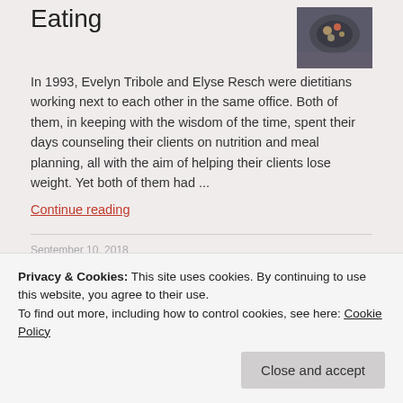Eating
[Figure (photo): A dark bowl with food on a dark cloth background]
In 1993, Evelyn Tribole and Elyse Resch were dietitians working next to each other in the same office. Both of them, in keeping with the wisdom of the time, spent their days counseling their clients on nutrition and meal planning, all with the aim of helping their clients lose weight. Yet both of them had ...
Continue reading
September 10, 2018
I'm a pretty confident girl. Actually,
Privacy & Cookies: This site uses cookies. By continuing to use this website, you agree to their use.
To find out more, including how to control cookies, see here: Cookie Policy
Close and accept